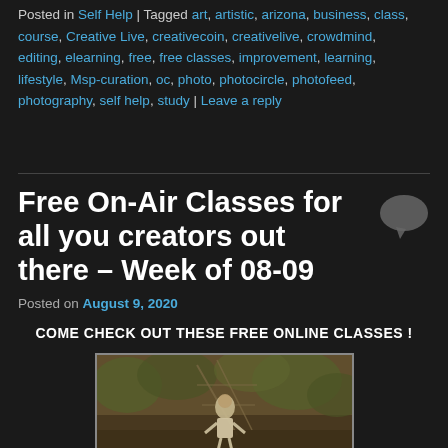Posted in Self Help | Tagged art, artistic, arizona, business, class, course, Creative Live, creativecoin, creativelive, crowdmind, editing, elearning, free, free classes, improvement, learning, lifestyle, Msp-curation, oc, photo, photocircle, photofeed, photography, self help, study | Leave a reply
Free On-Air Classes for all you creators out there – Week of 08-09
Posted on August 9, 2020
COME CHECK OUT THESE FREE ONLINE CLASSES !
[Figure (photo): Sepia-toned vintage photograph of a person in white standing near a metal structure with foliage in the background]